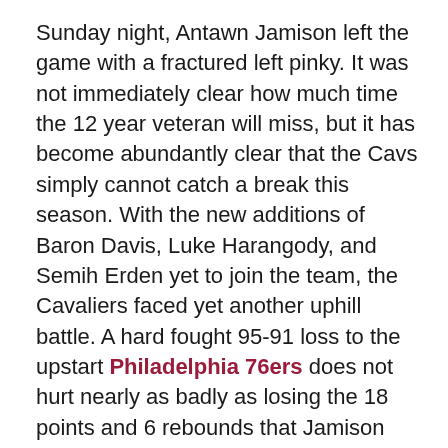Sunday night, Antawn Jamison left the game with a fractured left pinky. It was not immediately clear how much time the 12 year veteran will miss, but it has become abundantly clear that the Cavs simply cannot catch a break this season. With the new additions of Baron Davis, Luke Harangody, and Semih Erden yet to join the team, the Cavaliers faced yet another uphill battle. A hard fought 95-91 loss to the upstart Philadelphia 76ers does not hurt nearly as badly as losing the 18 points and 6 rebounds that Jamison provides each night. Just another day in the life of the 2011 Cleveland Cavaliers, who fell to 11-48 after the loss.